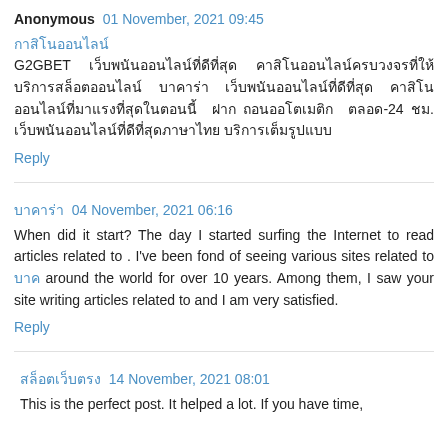Anonymous 01 November, 2021 09:45
G2GBET [Thai text] [Thai text] 24 [Thai text]
Reply
[Thai name] 04 November, 2021 06:16
When did it start? The day I started surfing the Internet to read articles related to . I've been fond of seeing various sites related to [Thai] around the world for over 10 years. Among them, I saw your site writing articles related to and I am very satisfied.
Reply
[Thai name] 14 November, 2021 08:01
This is the perfect post. It helped a lot. If you have time,